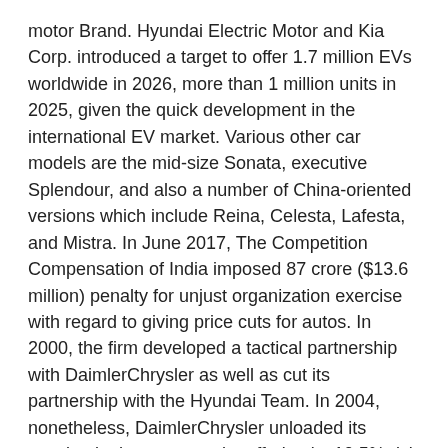motor Brand. Hyundai Electric Motor and Kia Corp. introduced a target to offer 1.7 million EVs worldwide in 2026, more than 1 million units in 2025, given the quick development in the international EV market. Various other car models are the mid-size Sonata, executive Splendour, and also a number of China-oriented versions which include Reina, Celesta, Lafesta, and Mistra. In June 2017, The Competition Compensation of India imposed 87 crore ($13.6 million) penalty for unjust organization exercise with regard to giving price cuts for autos. In 2000, the firm developed a tactical partnership with DaimlerChrysler as well as cut its partnership with the Hyundai Team. In 2004, nonetheless, DaimlerChrysler unloaded its passion in the company by offering its 10.5% risk for $900 million.
Hyundai lorries are sold in 193 countries through 5,000